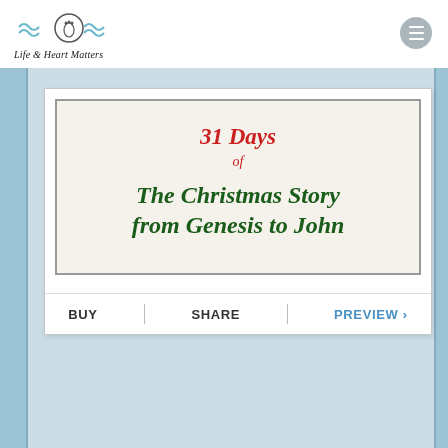Life & Heart Matters
[Figure (illustration): Book cover for '31 Days of The Christmas Story from Genesis to John' shown in a white card with BUY, SHARE, and PREVIEW action buttons below.]
31 Days of The Christmas Story from Genesis to John